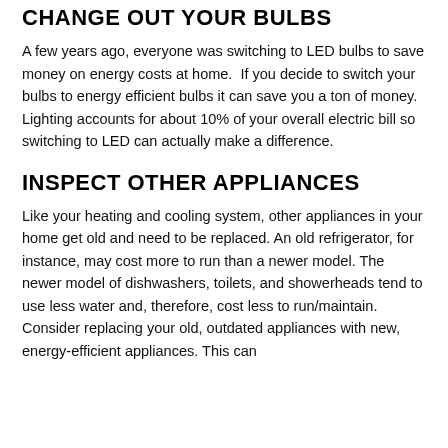CHANGE OUT YOUR BULBS
A few years ago, everyone was switching to LED bulbs to save money on energy costs at home.  If you decide to switch your bulbs to energy efficient bulbs it can save you a ton of money. Lighting accounts for about 10% of your overall electric bill so switching to LED can actually make a difference.
INSPECT OTHER APPLIANCES
Like your heating and cooling system, other appliances in your home get old and need to be replaced. An old refrigerator, for instance, may cost more to run than a newer model. The newer model of dishwashers, toilets, and showerheads tend to use less water and, therefore, cost less to run/maintain. Consider replacing your old, outdated appliances with new, energy-efficient appliances. This can